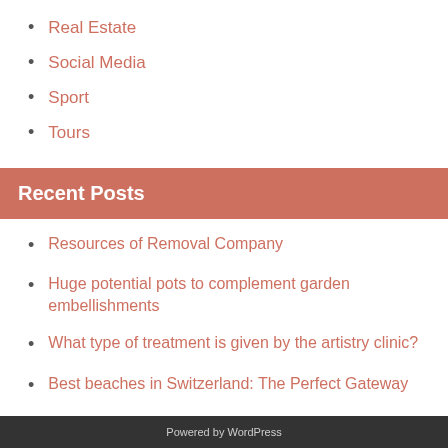Real Estate
Social Media
Sport
Tours
Recent Posts
Resources of Removal Company
Huge potential pots to complement garden embellishments
What type of treatment is given by the artistry clinic?
Best beaches in Switzerland: The Perfect Gateway
Is all the necessary work to complete this pool included in the contract?
Powered by WordPress